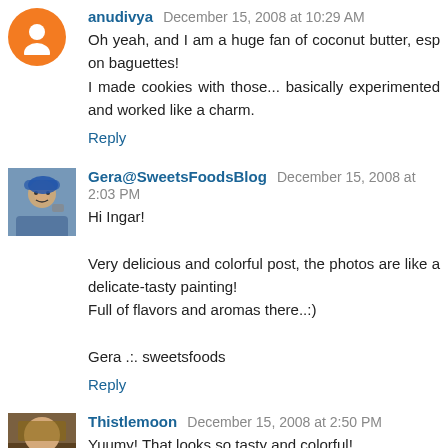anudivya December 15, 2008 at 10:29 AM
Oh yeah, and I am a huge fan of coconut butter, esp on baguettes!
I made cookies with those... basically experimented and worked like a charm.
Reply
Gera@SweetsFoodsBlog December 15, 2008 at 2:03 PM
Hi Ingar!

Very delicious and colorful post, the photos are like a delicate-tasty painting!
Full of flavors and aromas there..:)

Gera .:. sweetsfoods
Reply
Thistlemoon December 15, 2008 at 2:50 PM
Yuumy! That looks so tasty and colorful!